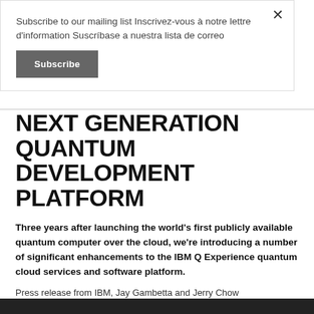Subscribe to our mailing list Inscrivez-vous à notre lettre d'information Suscríbase a nuestra lista de correo
Subscribe
NEXT GENERATION QUANTUM DEVELOPMENT PLATFORM
Three years after launching the world's first publicly available quantum computer over the cloud, we're introducing a number of significant enhancements to the IBM Q Experience quantum cloud services and software platform.
Press release from IBM, Jay Gambetta and Jerry Chow
May 9th 2019 | 270 readers